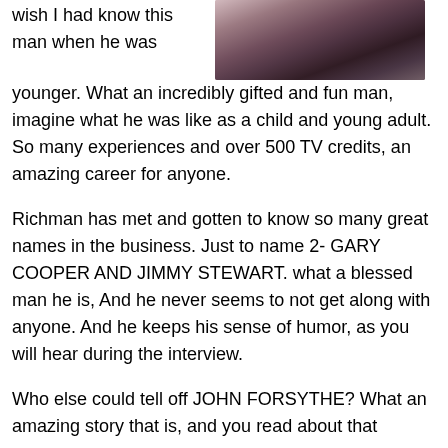[Figure (photo): Black and white portrait photo of a man in a suit and tie]
wish I had know this man when he was younger. What an incredibly gifted and fun man, imagine what he was like as a child and young adult. So many experiences and over 500 TV credits, an amazing career for anyone.
Richman has met and gotten to know so many great names in the business. Just to name 2- GARY COOPER AND JIMMY STEWART. what a blessed man he is, And he never seems to not get along with anyone. And he keeps his sense of humor, as you will hear during the interview.
Who else could tell off JOHN FORSYTHE? What an amazing story that is, and you read about that